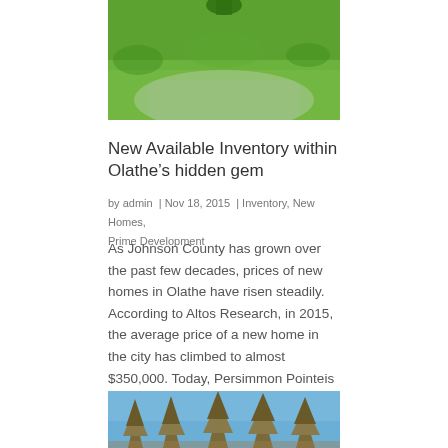[Figure (photo): Top portion of a photo showing green lawn and grey pavement/driveway, cropped at the top of the page]
New Available Inventory within Olathe’s hidden gem
by admin  |  Nov 18, 2015  |  Inventory, New Homes, Prime Development
As Johnson County has grown over the past few decades, prices of new homes in Olathe have risen steadily. According to Altos Research, in 2015, the average price of a new home in the city has climbed to almost $350,000. Today, Persimmon Pointeis one of the few…
[Figure (photo): Bottom portion of a photo showing pine/evergreen trees against a blue sky, cropped at the bottom of the page]